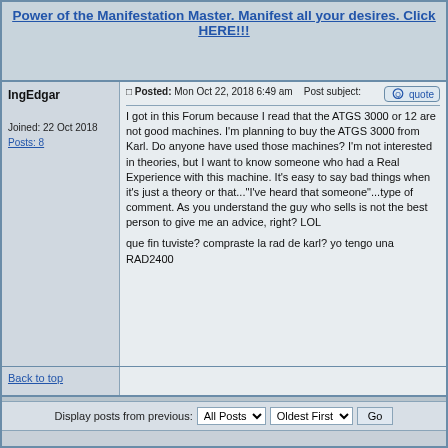[Figure (other): Advertisement banner: 'Power of the Manifestation Master. Manifest all your desires. Click HERE!!!' as a hyperlink]
IngEdgar
Joined: 22 Oct 2018
Posts: 8
Posted: Mon Oct 22, 2018 6:49 am   Post subject:
I got in this Forum because I read that the ATGS 3000 or 12 are not good machines. I'm planning to buy the ATGS 3000 from Karl. Do anyone have used those machines? I'm not interested in theories, but I want to know someone who had a Real Experience with this machine. It's easy to say bad things when it's just a theory or that..."I've heard that someone"...type of comment. As you understand the guy who sells is not the best person to give me an advice, right? LOL

que fin tuviste? compraste la rad de karl? yo tengo una RAD2400
Back to top
Display posts from previous:  All Posts   Oldest First   Go